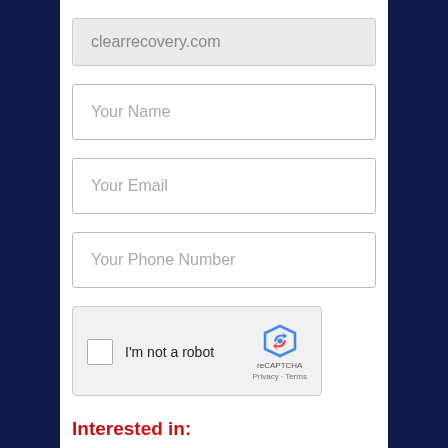clearrecovery.com
Your Name
Your Email
Your Phone Number
[Figure (other): reCAPTCHA widget with checkbox 'I'm not a robot' and reCAPTCHA logo with Privacy and Terms links]
Interested in:
Rental